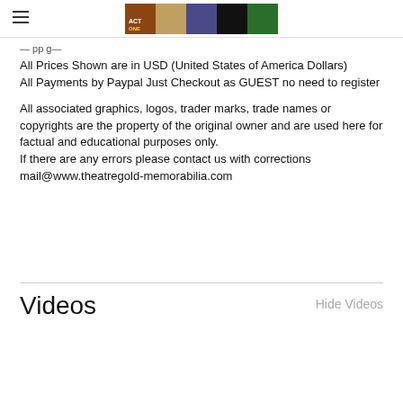ACT ONE theatregold-memorabilia header with logo banner
All Prices Shown are in USD (United States of America Dollars)
All Payments by Paypal Just Checkout as GUEST no need to register
All associated graphics, logos, trader marks, trade names or copyrights are the property of the original owner and are used here for factual and educational purposes only.
If there are any errors please contact us with corrections mail@www.theatregold-memorabilia.com
Videos
Hide Videos